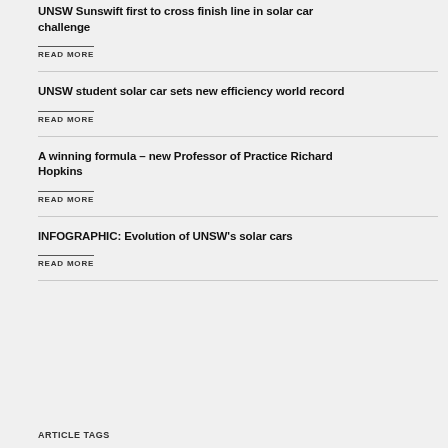UNSW Sunswift first to cross finish line in solar car challenge
READ MORE
UNSW student solar car sets new efficiency world record
READ MORE
A winning formula – new Professor of Practice Richard Hopkins
READ MORE
INFOGRAPHIC: Evolution of UNSW's solar cars
READ MORE
ARTICLE TAGS